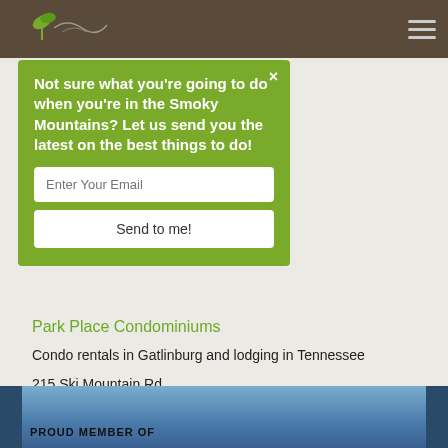[Figure (screenshot): Website screenshot showing a popup modal on a travel website for the Smoky Mountains, with a green modal overlay, email signup form, and business contact information for Park Place Condominiums below.]
Not sure what you're going to do when you're in the Smoky Mountains? Let us send you the latest on the best things to do!
Enter Your Email
Send to me!
Park Place Condominiums
Condo rentals in Gatlinburg and lodging in Tennessee
215 Ski Mountain Rd
Gatlinburg, TN 37738
Phone: 1-800-321-5798
wwwparkplacecondos.com
PROUD MEMBER OF